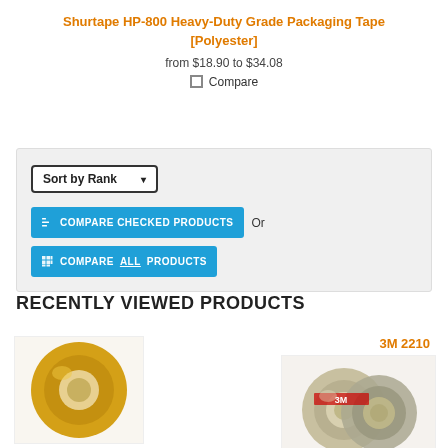Shurtape HP-800 Heavy-Duty Grade Packaging Tape [Polyester]
from $18.90 to $34.08
Compare
[Figure (screenshot): Sort by Rank dropdown and Compare Checked Products / Compare All Products buttons on a light gray background panel]
RECENTLY VIEWED PRODUCTS
JVCC DVT-76
3M 2210
[Figure (photo): Yellow tape roll product image]
[Figure (photo): 3M tape roll product image]